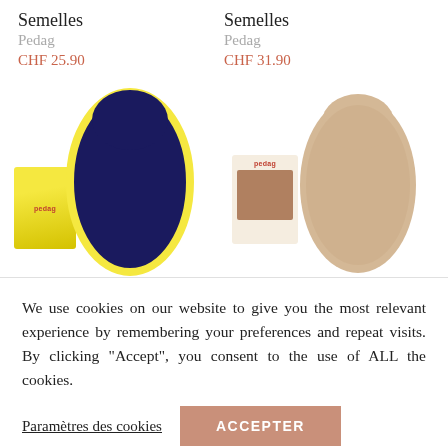Semelles
Pedag
CHF 25.90
Semelles
Pedag
CHF 31.90
[Figure (photo): Two shoe insole products from Pedag brand — left shows a navy/yellow foam insole with product box, right shows a beige leather insole with product box]
We use cookies on our website to give you the most relevant experience by remembering your preferences and repeat visits. By clicking "Accept", you consent to the use of ALL the cookies.
Paramètres des cookies
ACCEPTER